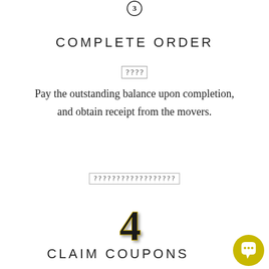[Figure (illustration): Step 3 decorative number icon at top of page, partially cropped]
COMPLETE ORDER
[Figure (illustration): Small decorative icon with question marks or currency symbols]
Pay the outstanding balance upon completion, and obtain receipt from the movers.
[Figure (illustration): Small linked/underlined text with question marks - possibly a hyperlink]
[Figure (illustration): Step 4 decorative bold number icon]
CLAIM COUPONS
[Figure (illustration): Yellow/olive circular chat bubble button in bottom right corner]